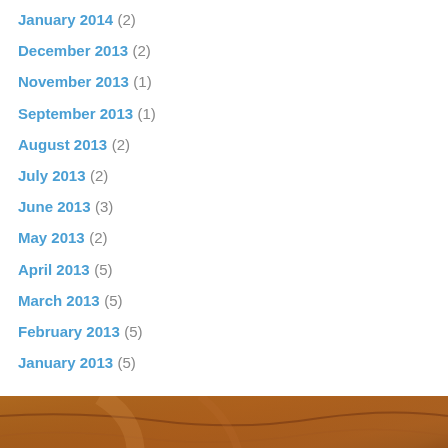January 2014 (2)
December 2013 (2)
November 2013 (1)
September 2013 (1)
August 2013 (2)
July 2013 (2)
June 2013 (3)
May 2013 (2)
April 2013 (5)
March 2013 (5)
February 2013 (5)
January 2013 (5)
[Figure (photo): Wood texture background used as footer background]
View Full Site
Blog at WordPress.com